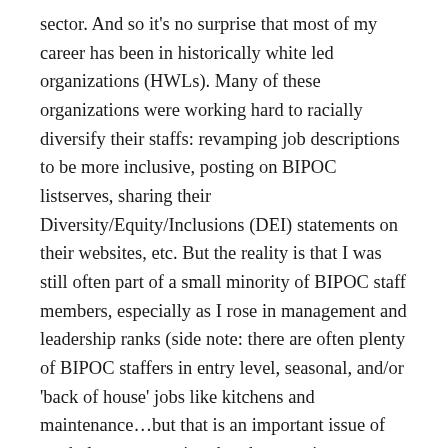sector. And so it's no surprise that most of my career has been in historically white led organizations (HWLs). Many of these organizations were working hard to racially diversify their staffs: revamping job descriptions to be more inclusive, posting on BIPOC listserves, sharing their Diversity/Equity/Inclusions (DEI) statements on their websites, etc. But the reality is that I was still often part of a small minority of BIPOC staff members, especially as I rose in management and leadership ranks (side note: there are often plenty of BIPOC staffers in entry level, seasonal, and/or 'back of house' jobs like kitchens and maintenance…but that is an important issue of workplace segregation that deserves its own future blog post).
So, what does this have to do with vegetarian protein options? Well, I constantly had to figure out what my stance was on the DEI work happening in the